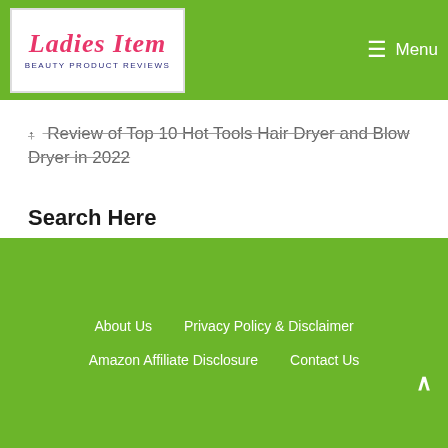Ladies Item — Beauty Product Reviews | Menu
Review of Top 10 Hot Tools Hair Dryer and Blow Dryer in 2022
Search Here
Search …
About Us | Privacy Policy & Disclaimer | Amazon Affiliate Disclosure | Contact Us